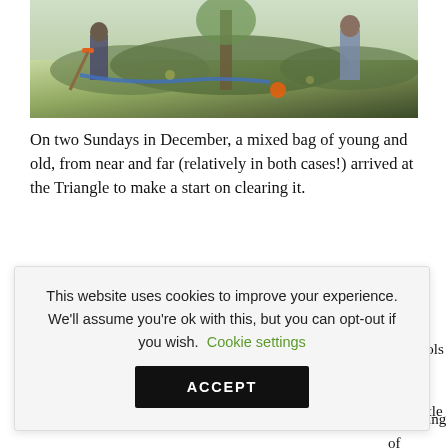[Figure (photo): People clearing land outdoors, with tools, on a sunny day. Green and brown vegetation visible.]
On two Sundays in December, a mixed bag of young and old, from near and far (relatively in both cases!) arrived at the Triangle to make a start on clearing it.
This website uses cookies to improve your experience. We'll assume you're ok with this, but you can opt-out if you wish. Cookie settings ACCEPT
l layer was a the e of tools and : satisfying of ripped into the
ne gentle